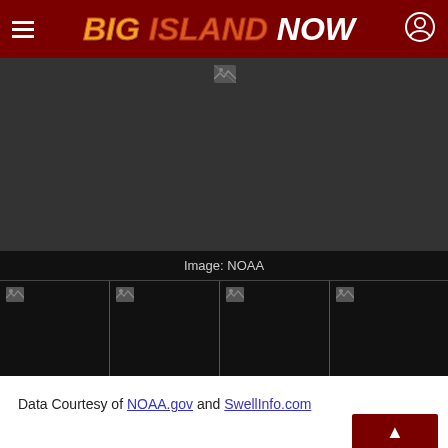BIG ISLAND NOW
[Figure (photo): Large main image area, appears broken/not loaded, dark background]
Image: NOAA
[Figure (photo): Thumbnail gallery strip with 4 image thumbnails, all broken/not loaded, dark background]
Data Courtesy of NOAA.gov and SwellInfo.com